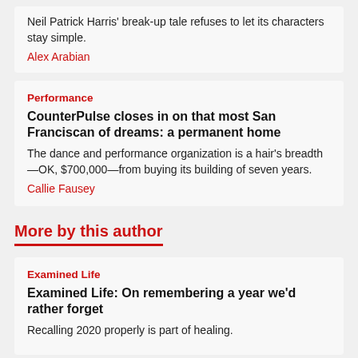Neil Patrick Harris' break-up tale refuses to let its characters stay simple.
Alex Arabian
Performance
CounterPulse closes in on that most San Franciscan of dreams: a permanent home
The dance and performance organization is a hair's breadth—OK, $700,000—from buying its building of seven years.
Callie Fausey
More by this author
Examined Life
Examined Life: On remembering a year we'd rather forget
Recalling 2020 properly is part of healing.